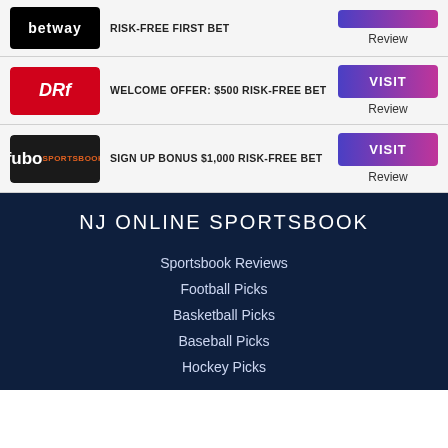[Figure (logo): Betway logo - black background, white text]
RISK-FREE FIRST BET
Review
[Figure (logo): DRF logo - red background, white italic text]
WELCOME OFFER: $500 RISK-FREE BET
VISIT
Review
[Figure (logo): fubo Sportsbook logo - black background, white text]
SIGN UP BONUS $1,000 RISK-FREE BET
VISIT
Review
NJ ONLINE SPORTSBOOK
Sportsbook Reviews
Football Picks
Basketball Picks
Baseball Picks
Hockey Picks